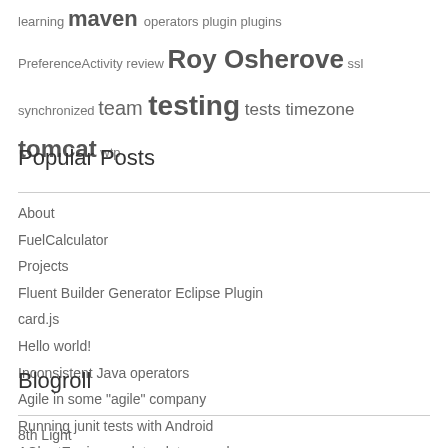learning maven operators plugin plugins PreferenceActivity review Roy Osherove ssl synchronized team testing tests timezone tomcat wtp
Popular Posts
About
FuelCalculator
Projects
Fluent Builder Generator Eclipse Plugin
card.js
Hello world!
Inconsistent Java operators
Agile in some "agile" company
Running junit tests with Android
AChartEngine xy date plot example
Blogroll
8th Light
Blog.KrzysztofSzumny.pl